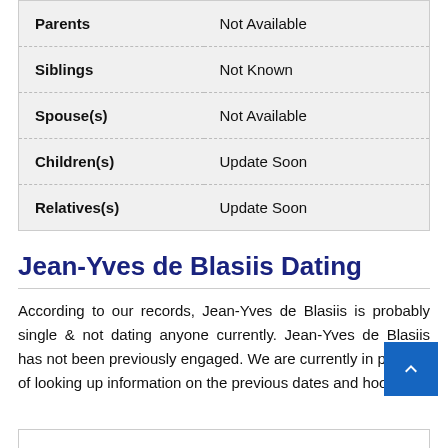| Field | Value |
| --- | --- |
| Parents | Not Available |
| Siblings | Not Known |
| Spouse(s) | Not Available |
| Children(s) | Update Soon |
| Relatives(s) | Update Soon |
Jean-Yves de Blasiis Dating
According to our records, Jean-Yves de Blasiis is probably single & not dating anyone currently. Jean-Yves de Blasiis has not been previously engaged. We are currently in process of looking up information on the previous dates and hookups.